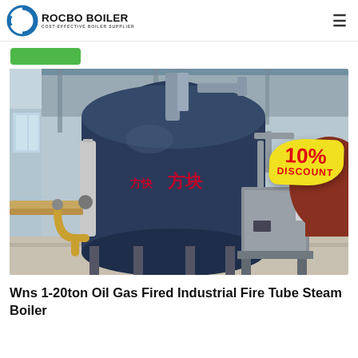ROCBO BOILER — COST-EFFECTIVE BOILER SUPPLIER
[Figure (photo): Industrial fire tube steam boiler in a factory setting. Large dark blue cylindrical boiler body with Chinese characters, control cabinet, pipes, and a yellow gas line fitting. A '10% DISCOUNT' badge is overlaid on the top-right of the image.]
Wns 1-20ton Oil Gas Fired Industrial Fire Tube Steam Boiler